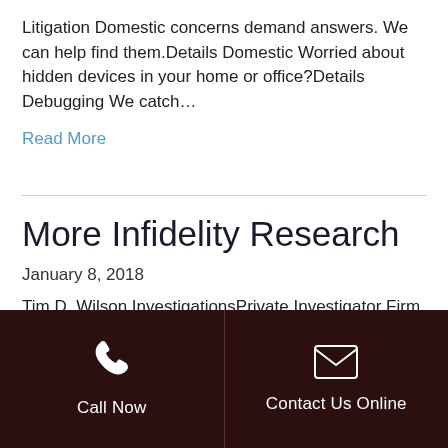Litigation Domestic concerns demand answers. We can help find them.Details Domestic Worried about hidden devices in your home or office?Details Debugging We catch…
Read More
More Infidelity Research
January 8, 2018
Tim D. Wilson InvestigationsPrivate Investigator Firm Based in Houston, TX Home About Us Services Contact 1 (800) 820-7006 Advanced tools gather the
Call Now | Contact Us Online